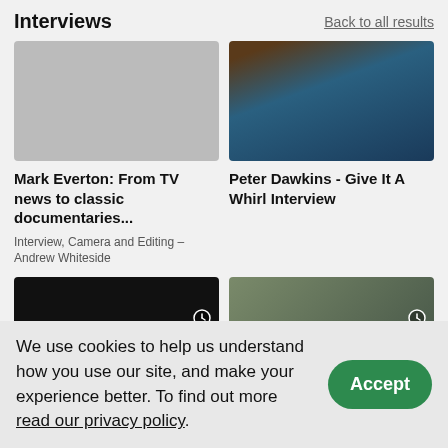Interviews
Back to all results
[Figure (photo): Photo of a man in a teal/blue shirt in a dark environment]
Mark Everton: From TV news to classic documentaries...
Interview, Camera and Editing – Andrew Whiteside
Peter Dawkins - Give It A Whirl Interview
[Figure (photo): Video thumbnail showing two men with a clock icon overlay]
[Figure (photo): Video thumbnail showing an older man with a clock icon overlay]
We use cookies to help us understand how you use our site, and make your experience better. To find out more read our privacy policy.